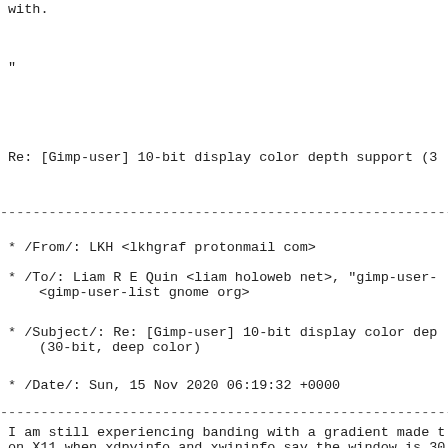with.
"
Re: [Gimp-user] 10-bit display color depth support (3
------------------------------------------------------------------------
* /From/: LKH <lkhgraf protonmail com>
* /To/: Liam R E Quin <liam holoweb net>, "gimp-user- <gimp-user-list gnome org>
* /Subject/: Re: [Gimp-user] 10-bit display color dep (30-bit, deep color)
* /Date/: Sun, 15 Nov 2020 06:19:32 +0000
------------------------------------------------------------------------
I am still experiencing banding with a gradient made t on X11 when xdpyinfo and xwininfo say the window is 30 believe 16 bit support for TIFF is in GIMP anyway bec